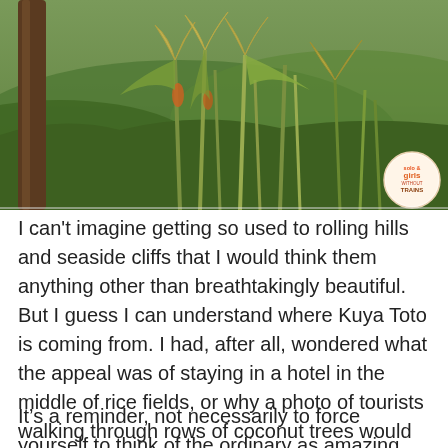[Figure (photo): Outdoor nature photo showing green tropical plants, corn-like stalks with feathery tops, and a wooden tree trunk on the left, with rolling green hills in the background. A circular logo badge appears in the bottom-right corner of the image.]
I can't imagine getting so used to rolling hills and seaside cliffs that I would think them anything other than breathtakingly beautiful. But I guess I can understand where Kuya Toto is coming from. I had, after all, wondered what the appeal was of staying in a hotel in the middle of rice fields, or why a photo of tourists walking through rows of coconut trees would be labeled as “paradise,” or why people rave about beaches that aren’t nearly as beautiful as the ones in my country. And I suppose there are people around the world who think cherry blossoms and northern lights and fjords and fall foliage are ordinary — if I lived where they live, I would probably think so too.
It’s a reminder, not necessarily to force yourself to think of the ordinary as amazing, but to keep in mind that your